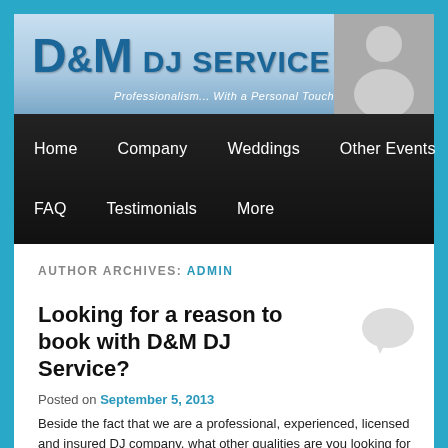[Figure (logo): D&M DJ Service logo banner with blue gradient background and tagline 'Professionalism... With a Personal Touch']
Home | Company | Weddings | Other Events | FAQ | Testimonials | More
AUTHOR ARCHIVES: admin
Looking for a reason to book with D&M DJ Service?
Posted on September 5, 2013
Beside the fact that we are a professional, experienced, licensed and insured DJ company, what other qualities are you looking for in a good DJ? Is it price alone? Or are you